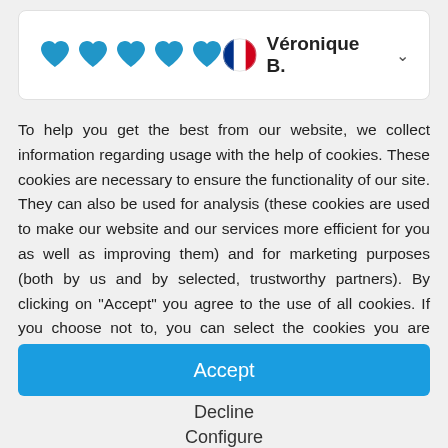[Figure (screenshot): Top card showing five blue heart icons on the left, and a French flag circle icon with bold text 'Véronique B.' and a dropdown chevron on the right]
To help you get the best from our website, we collect information regarding usage with the help of cookies. These cookies are necessary to ensure the functionality of our site. They can also be used for analysis (these cookies are used to make our website and our services more efficient for you as well as improving them) and for marketing purposes (both by us and by selected, trustworthy partners). By clicking on "Accept" you agree to the use of all cookies. If you choose not to, you can select the cookies you are happy to use here. Click here for more information about our privacy policy.
Accept
Decline
Configure